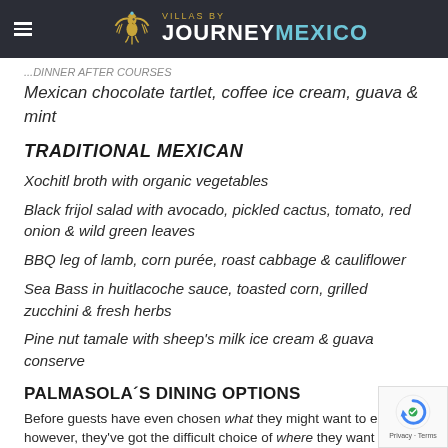VILLAS BY JOURNEY MEXICO
...DINNER AFTER COURSES
Mexican chocolate tartlet, coffee ice cream, guava & mint
TRADITIONAL MEXICAN
Xochitl broth with organic vegetables
Black frijol salad with avocado, pickled cactus, tomato, red onion & wild green leaves
BBQ leg of lamb, corn purée, roast cabbage & cauliflower
Sea Bass in huitlacoche sauce, toasted corn, grilled zucchini & fresh herbs
Pine nut tamale with sheep's milk ice cream & guava conserve
PALMASOLA´S DINING OPTIONS
Before guests have even chosen what they might want to eat, however, they've got the difficult choice of where they want to